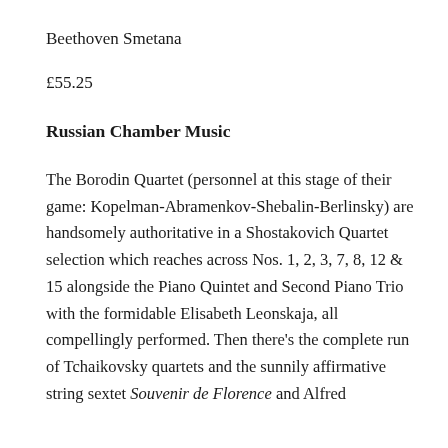Beethoven Smetana
£55.25
Russian Chamber Music
The Borodin Quartet (personnel at this stage of their game: Kopelman-Abramenkov-Shebalin-Berlinsky) are handsomely authoritative in a Shostakovich Quartet selection which reaches across Nos. 1, 2, 3, 7, 8, 12 & 15 alongside the Piano Quintet and Second Piano Trio with the formidable Elisabeth Leonskaja, all compellingly performed. Then there's the complete run of Tchaikovsky quartets and the sunnily affirmative string sextet Souvenir de Florence and Alfred